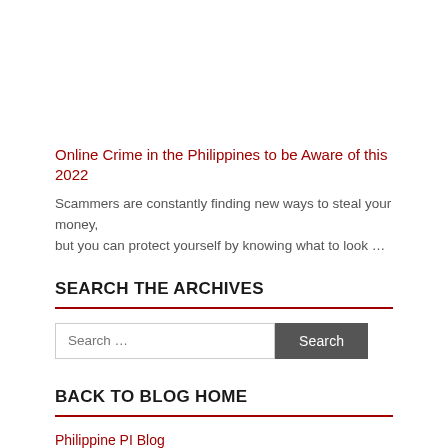Online Crime in the Philippines to be Aware of this 2022
Scammers are constantly finding new ways to steal your money, but you can protect yourself by knowing what to look …
SEARCH THE ARCHIVES
BACK TO BLOG HOME
Philippine PI Blog